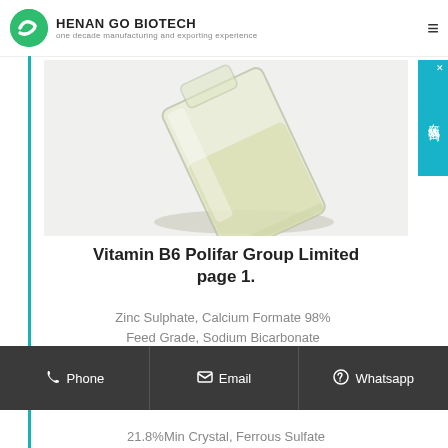HENAN GO BIOTECH — one decade manufacturing and exporting experience
[Figure (photo): Close-up photo of a glass vessel/bottle containing a pale yellow-green liquid (Vitamin B6 solution), tilted at an angle on a white background]
在线咨询
Vitamin B6 Polifar Group Limited page 1.
Zinc Sulphate, Calcium Formate 98% Feed Grade, Sodium Bicarbonate
Phone   Email   Whatsapp
21.8%Min Crystal, Ferrous Sulfate